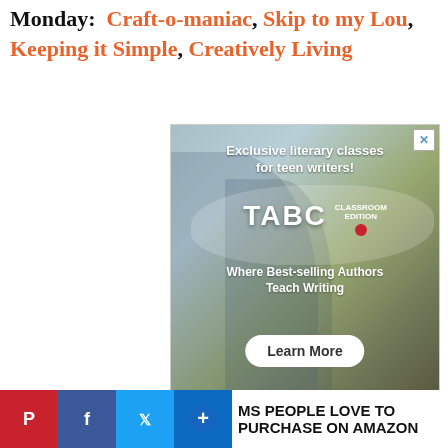Monday: Craft-o-maniac, Skip to my Lou, Keeping it Simple, Creatively Living
[Figure (photo): Advertisement for TABC Classroom Edition — showing two students in blue shirts with text 'Exclusive literary classes for teen writers!' and 'Where Best-selling Authors Teach Writing' with a 'Learn More' button and an X close button.]
Tuesday: Clean and Scentsible, Not Just a Housewife  Wednesday: Seven Thirty Three,
[Figure (logo): 22 Words circular logo badge in blue]
CLOSE
MS PEOPLE LOVE TO PURCHASE ON AMAZON